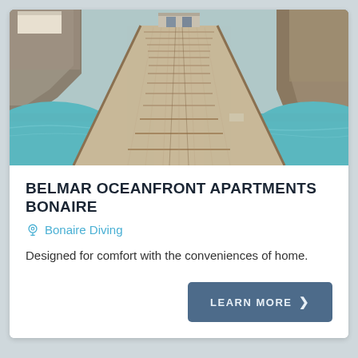[Figure (photo): A wooden dock/pier extending over turquoise water toward rocky cliffs, with a small structure at the far end. View is down the length of the dock from close up.]
BELMAR OCEANFRONT APARTMENTS BONAIRE
Bonaire Diving
Designed for comfort with the conveniences of home.
LEARN MORE ❯